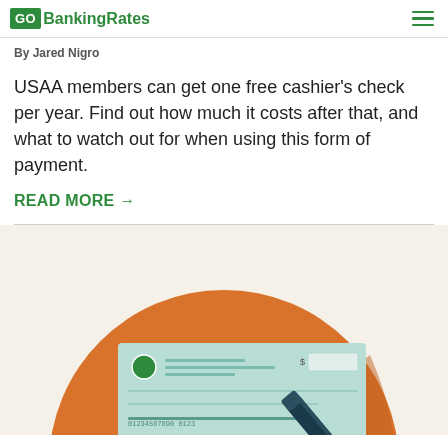GOBankingRates
By Jared Nigro
USAA members can get one free cashier's check per year. Find out how much it costs after that, and what to watch out for when using this form of payment.
READ MORE →
[Figure (illustration): Flat design illustration of a cashier's check with a pen on top of an orange circle background]